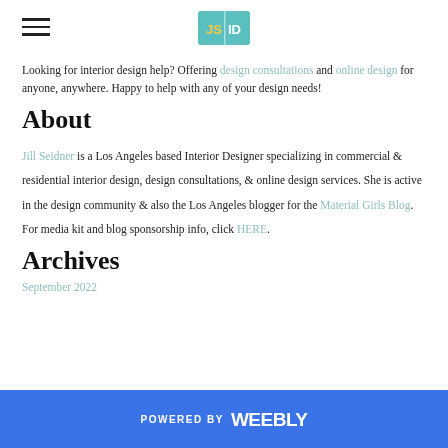JS|ID logo with hamburger menu
Looking for interior design help? Offering design consultations and online design for anyone, anywhere. Happy to help with any of your design needs!
About
Jill Seidner is a Los Angeles based Interior Designer specializing in commercial & residential interior design, design consultations, & online design services. She is active in the design community & also the Los Angeles blogger for the Material Girls Blog. For media kit and blog sponsorship info, click HERE.
Archives
September 2022
POWERED BY weebly